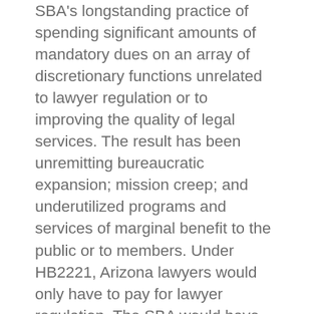SBA's longstanding practice of spending significant amounts of mandatory dues on an array of discretionary functions unrelated to lawyer regulation or to improving the quality of legal services. The result has been unremitting bureaucratic expansion; mission creep; and underutilized programs and services of marginal benefit to the public or to members. Under HB2221, Arizona lawyers would only have to pay for lawyer regulation. The SBA would have authorization only to collect voluntary assessments for non-regulatory programs and services. This means the Bar would have the unheralded free market opportunity to sell its programs and services on their merits to its members. Moreover, based not on speculation but on actual experience, instead of $335 in mandatory dues Nebraska lawyers now pay $98 for lawyer regulation. Nebraska lawyers